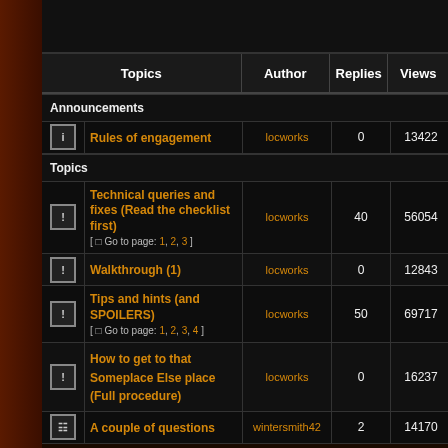| Topics | Author | Replies | Views |
| --- | --- | --- | --- |
| [Announcements] |  |  |  |
| Rules of engagement | locworks | 0 | 13422 |
| [Topics] |  |  |  |
| Technical queries and fixes (Read the checklist first) [ Go to page: 1, 2, 3 ] | locworks | 40 | 56054 |
| Walkthrough (1) | locworks | 0 | 12843 |
| Tips and hints (and SPOILERS) [ Go to page: 1, 2, 3, 4 ] | locworks | 50 | 69717 |
| How to get to that Someplace Else place (Full procedure) | locworks | 0 | 16237 |
| A couple of questions | wintersmith42 | 2 | 14170 |